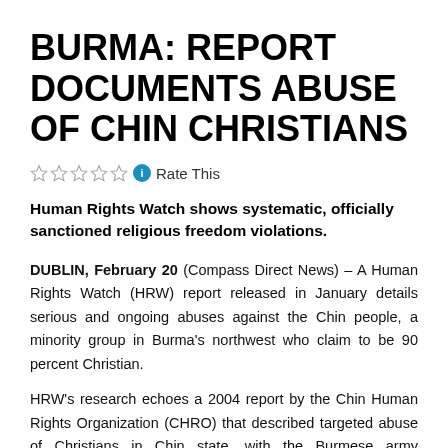BURMA: REPORT DOCUMENTS ABUSE OF CHIN CHRISTIANS
Rate This
Human Rights Watch shows systematic, officially sanctioned religious freedom violations.
DUBLIN, February 20 (Compass Direct News) – A Human Rights Watch (HRW) report released in January details serious and ongoing abuses against the Chin people, a minority group in Burma's northwest who claim to be 90 percent Christian.
HRW's research echoes a 2004 report by the Chin Human Rights Organization (CHRO) that described targeted abuse of Christians in Chin state, with the Burmese army subjecting